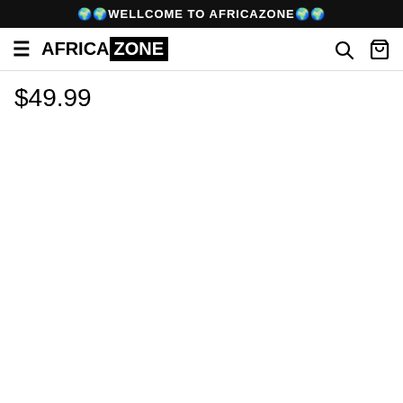🌍🌍WELLCOME TO AFRICAZONE🌍🌍
[Figure (logo): AfricaZone website header with hamburger menu, AFRICAZONE logo (AFRICA in black text, ZONE in white text on black background), search icon, and shopping cart icon]
$49.99